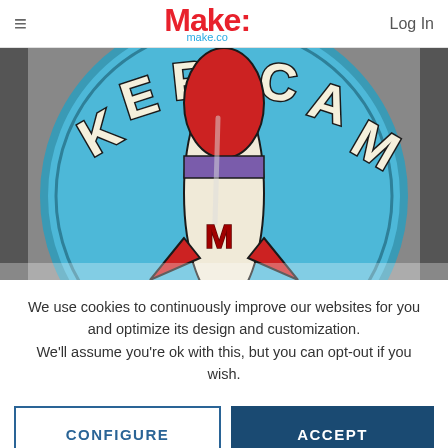Make: make.co  Log In
[Figure (illustration): Circular badge illustration with 'MAKER CAM' text and a rocket ship on a blue background, partially visible (cropped at bottom)]
We use cookies to continuously improve our websites for you and optimize its design and customization.
We'll assume you're ok with this, but you can opt-out if you wish.
CONFIGURE
ACCEPT